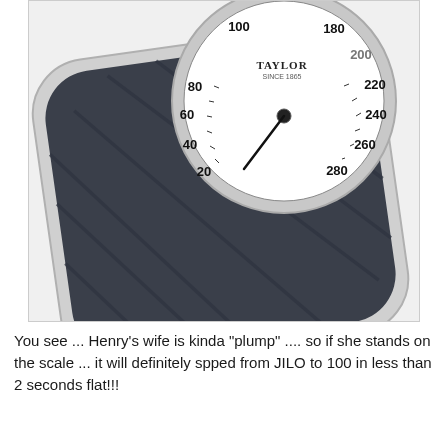[Figure (photo): A Taylor brand bathroom scale photographed from above and to the side. The scale has a dark gray/charcoal non-slip platform with diagonal ribbed texture. A round analog dial is visible at the top, showing weight measurements: 20, 40, 60, 80, 100 on the left side and 180, 200, 220, 240, 260, 280 on the right side. The dial needle points near zero/100. The scale has a chrome/silver rim.]
You see ... Henry's wife is kinda "plump" .... so if she stands on the scale ... it will definitely spped from JILO to 100 in less than 2 seconds flat!!!